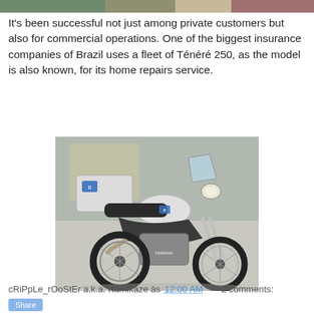[Figure (photo): Partial image strip at top of page, showing edge of a motorcycle or related scene]
It's been successful not just among private customers but also for commercial operations. One of the biggest insurance companies of Brazil uses a fleet of Ténéré 250, as the model is also known, for its home repairs service.
[Figure (photo): A Yamaha Ténéré 250 motorcycle with white top case/box branded with a blue logo, parked outdoors on a stone surface. The motorcycle is silver and black with branded decals.]
cRiPpLe_rOoStEr a.k.a. Kamikaze às 12:00 AM    2 comments: